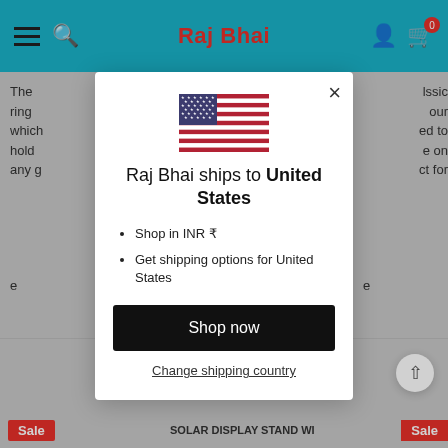Raj Bhai
[Figure (screenshot): Modal popup on Raj Bhai e-commerce website showing US flag, shipping info for United States, Shop in INR ₹, Get shipping options for United States, Shop now button, and Change shipping country link]
Raj Bhai ships to United States
Shop in INR ₹
Get shipping options for United States
Shop now
Change shipping country